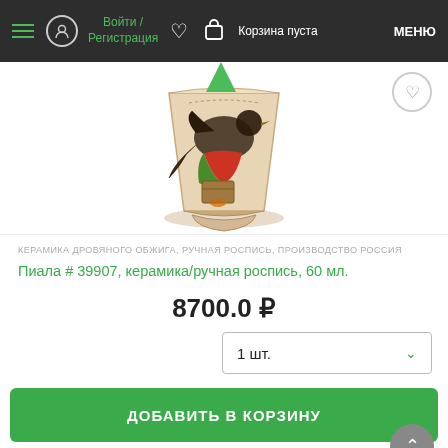Войти / Регистрация  Корзина пуста  МЕНЮ
[Figure (photo): Ceramic bowl (piala) with hand-painted bird and figure decoration on cream/beige background, trapezoid shape wider at top]
КЕРАМИКА ДРОВЯНОГО ОБЖИГА, РУЧНАЯ РОСПИСЬ, ПРОИЗВОДСТВО РОССИЯ
Пиала # 39907, керамика/ручная роспись, 60 мл.
8700.0 ₽
1 шт.
ДОБАВИТЬ В КОРЗИНУ